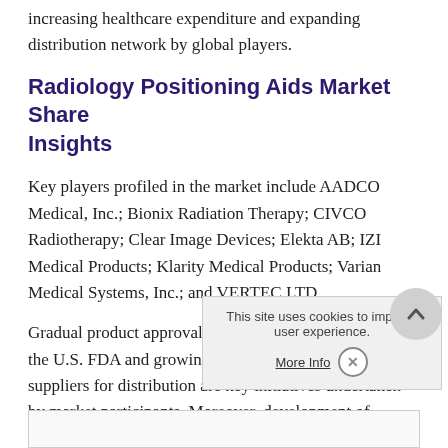increasing healthcare expenditure and expanding distribution network by global players.
Radiology Positioning Aids Market Share Insights
Key players profiled in the market include AADCO Medical, Inc.; Bionix Radiation Therapy; CIVCO Radiotherapy; Clear Image Devices; Elekta AB; IZI Medical Products; Klarity Medical Products; Varian Medical Systems, Inc.; and VERTEC LTD.
Gradual product approval by regulatory bodies such as the U.S. FDA and growing alliances between players and suppliers for distribution are key initiatives undertaken by market participants. Moreover, development of technologically advanced products, such as pediatric radiology positioning devices overall market.